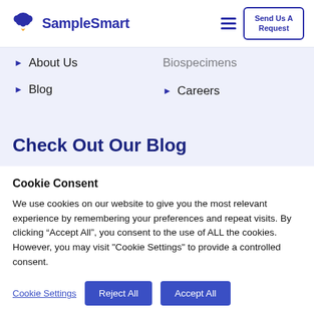SampleSmart — Send Us A Request
Biospecimens
About Us
Blog
Careers
Check Out Our Blog
Cookie Consent
We use cookies on our website to give you the most relevant experience by remembering your preferences and repeat visits. By clicking “Accept All”, you consent to the use of ALL the cookies. However, you may visit "Cookie Settings" to provide a controlled consent.
Cookie Settings | Reject All | Accept All